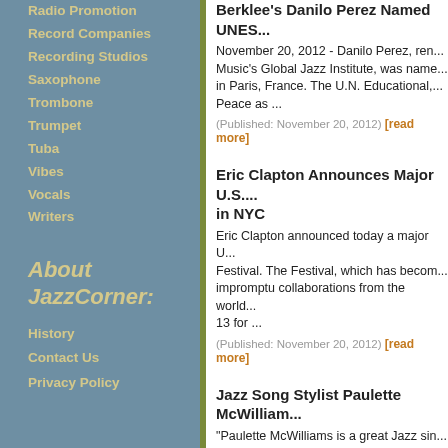Radio Promotion
Record Companies
Recording Studios
Saxophone
Trombone
Trumpet
Tuba
Vibes
Vocals
Writers
About JazzCorner:
History
Contact Us
Privacy Policy
Berklee's Danilo Perez Named UNES... November 20, 2012 - Danilo Perez, ren... Music's Global Jazz Institute, was name... in Paris, France. The U.N. Educational,... Peace as ... (Published: November 20, 2012) [read more]
Eric Clapton Announces Major U.S.... in NYC Eric Clapton announced today a major U... Festival. The Festival, which has becom... impromptu collaborations from the world... 13 for ... (Published: November 20, 2012) [read more]
Jazz Song Stylist Paulette McWilliam... "Paulette McWilliams is a great Jazz sin... is beautifully brilliant...I love listening to m... Performs Telling Stories at Aaron Davis ... (Published: November 19, 2012) [read more]
Danilo Pérez named a UNESCO Arti... Ms. Irina Bokova, Director General of th... Organization (UNESCO) has designated... Peace. UNESCO Artists for Peace are in... influence, ... (Published: November 19, 2012) [read more]
WBGO's Champions of Jazz Celebra...